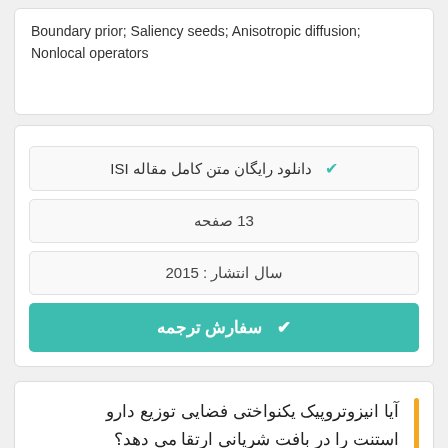Boundary prior; Saliency seeds; Anisotropic diffusion; Nonlocal operators
✔ دانلود رایگان متن کامل مقاله ISI
13 صفحه
سال انتشار : 2015
✔ سفارش ترجمه
آیا انیزوتروپیک یکنواختی فضایی توزیع دارو استنت را در بافت شریانی ارتقا می دهد؟